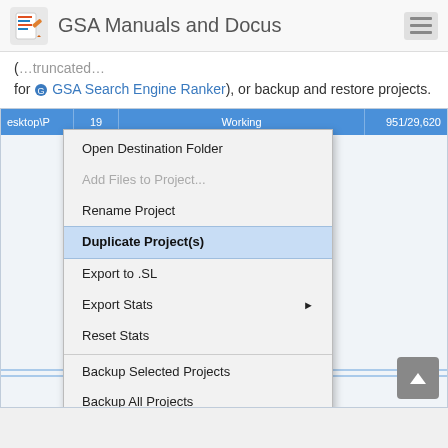GSA Manuals and Docus
for GSA Search Engine Ranker), or backup and restore projects.
[Figure (screenshot): Screenshot of a software application (GSA Search Engine Ranker) showing a context menu with options: Open Destination Folder, Add Files to Project..., Rename Project, Duplicate Project(s) (highlighted), Export to .SL, Export Stats (with submenu arrow), Reset Stats, Backup Selected Projects, Backup All Projects, Restore Projects...]